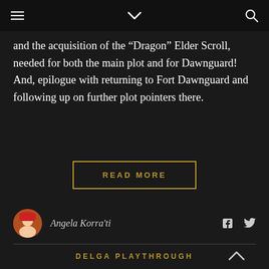☰  ∨  🔍
and the acquisition of the “Dragon” Elder Scroll, needed for both the main plot and for Dawnguard! And, epilogue with returning to Fort Dawnguard and following up on further plot pointers there.
READ MORE
Angela Korra'ti
DELGA PLAYTHROUGH